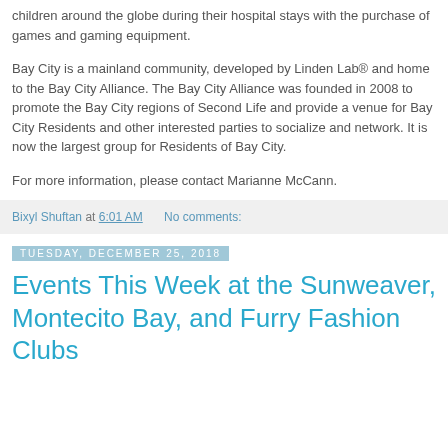children around the globe during their hospital stays with the purchase of games and gaming equipment.
Bay City is a mainland community, developed by Linden Lab® and home to the Bay City Alliance. The Bay City Alliance was founded in 2008 to promote the Bay City regions of Second Life and provide a venue for Bay City Residents and other interested parties to socialize and network. It is now the largest group for Residents of Bay City.
For more information,  please contact Marianne McCann.
Bixyl Shuftan at 6:01 AM    No comments:
Tuesday, December 25, 2018
Events This Week at the Sunweaver, Montecito Bay, and Furry Fashion Clubs